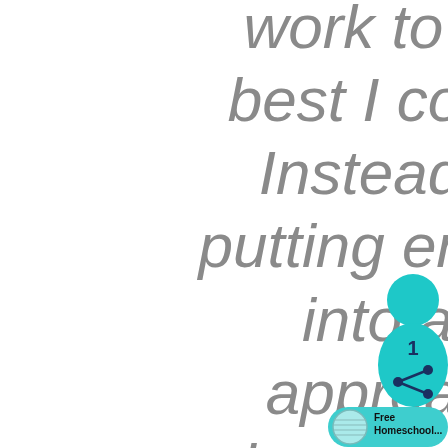work to the best I could. Instead of putting energy into an approach where my kids odds of learning were actually lowered, I
[Figure (illustration): Social media overlay widget showing a teal Pinterest-style save button with a circle head, body shape with number 1, share icon, and a 'Free Homeschool...' pin tag at bottom right]